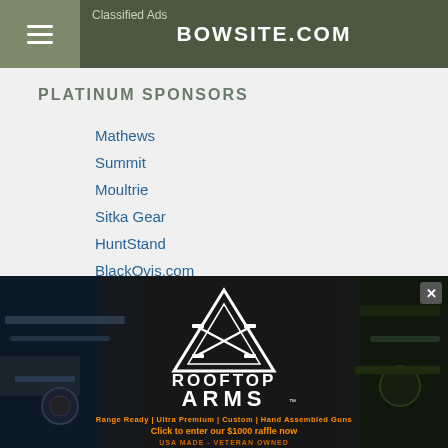Classified Ads | BOWSITE.COM
PLATINUM SPONSORS
Mathews
Summit
Moultrie
Sitka Gear
HuntStand
BlackOvis.com
[Figure (advertisement): Rooftop Arms advertisement banner. White logo with triangle/mountain shape and crossed rifles. Text: ROOFTOP ARMS. Tagline: Range Ready | Ultra Premium | Custom | Hand Assembled Guns. Click to enter our $1000 raffle now. USA MADE - VETERAN OWNED. Background shows guns and dark imagery.]